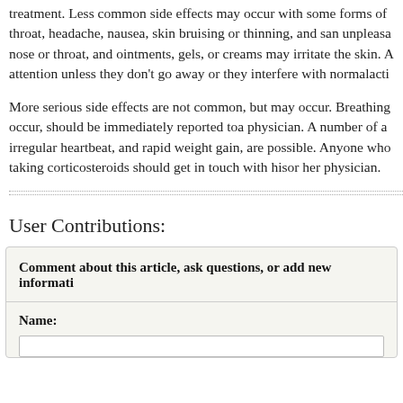treatment. Less common side effects may occur with some forms of throat, headache, nausea, skin bruising or thinning, and san unpleasant nose or throat, and ointments, gels, or creams may irritate the skin. A attention unless they don't go away or they interfere with normalactivity.

More serious side effects are not common, but may occur. Breathing occur, should be immediately reported toa physician. A number of additional irregular heartbeat, and rapid weight gain, are possible. Anyone who taking corticosteroids should get in touch with hisor her physician.
User Contributions:
Comment about this article, ask questions, or add new information:
Name: